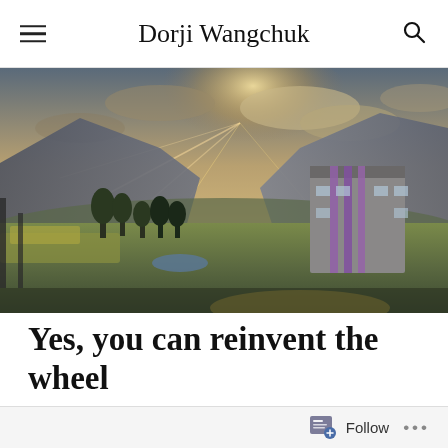Dorji Wangchuk
[Figure (photo): Aerial/elevated landscape photo of a mountain valley town. Dramatic sky with sun rays breaking through clouds over mountains. In the foreground are trees and fields; a building with purple vertical banners is visible on the right side.]
Yes, you can reinvent the wheel
ON APRIL 9, 2019 / BY DORJIWANGCHUK